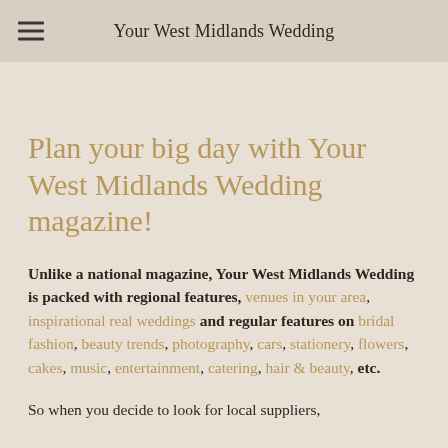Your West Midlands Wedding
Plan your big day with Your West Midlands Wedding magazine!
Unlike a national magazine, Your West Midlands Wedding is packed with regional features, venues in your area, inspirational real weddings and regular features on bridal fashion, beauty trends, photography, cars, stationery, flowers, cakes, music, entertainment, catering, hair & beauty, etc.
So when you decide to look for local suppliers,